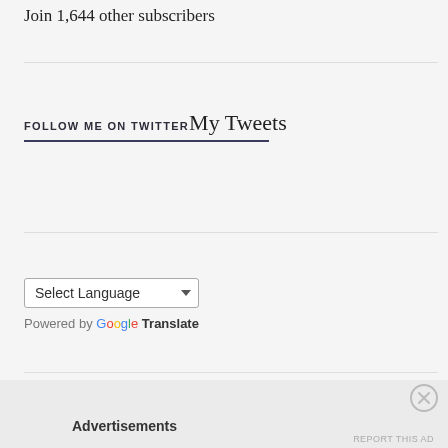Join 1,644 other subscribers
FOLLOW ME ON TWITTERMy Tweets
Select Language
Powered by Google Translate
Advertisements
REPORT THIS AD